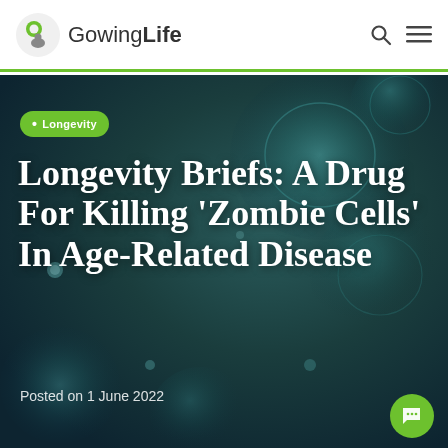Gowing Life
[Figure (photo): Dark teal/green microscopic cell background image showing circular cell-like structures floating in dark fluid, used as hero image background]
Longevity
Longevity Briefs: A Drug For Killing ‘Zombie Cells’ In Age-Related Disease
Posted on 1 June 2022